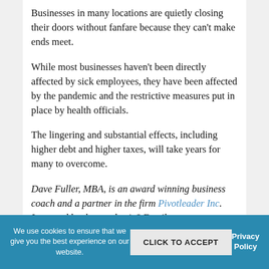Businesses in many locations are quietly closing their doors without fanfare because they can't make ends meet.
While most businesses haven't been directly affected by sick employees, they have been affected by the pandemic and the restrictive measures put in place by health officials.
The lingering and substantial effects, including higher debt and higher taxes, will take years for many to overcome.
Dave Fuller, MBA, is an award winning business coach and a partner in the firm Pivotleader Inc. Impacted by the pandemic? Email dave@pivotleader.com
We use cookies to ensure that we give you the best experience on our website. CLICK TO ACCEPT Privacy Policy